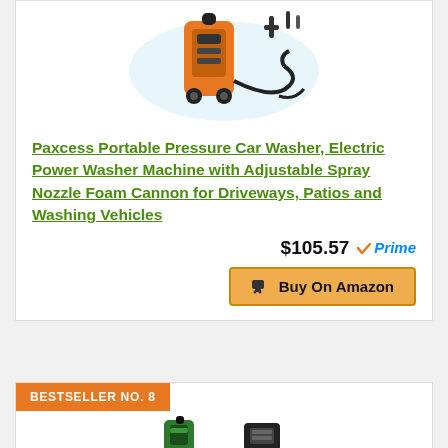[Figure (photo): Paxcess orange and black electric pressure washer with accessories shown on white/splash background]
Paxcess Portable Pressure Car Washer, Electric Power Washer Machine with Adjustable Spray Nozzle Foam Cannon for Driveways, Patios and Washing Vehicles
$105.57  ✓Prime
Buy On Amazon
BESTSELLER NO. 8
[Figure (photo): Partial view of another pressure washer product (black and green), bestseller no. 8]